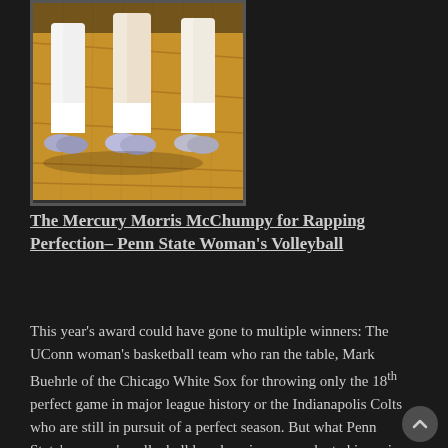[Figure (photo): Close-up photo of women's volleyball players' legs and sneakers on a hardwood gym floor]
The Mercury Morris McChumpy for Rapping Perfection– Penn State Woman's Volleyball
This year's award could have gone to multiple winners: The UConn woman's basketball team who ran the table, Mark Buehrle of the Chicago White Sox for throwing only the 18th perfect game in major league history or the Indianapolis Colts who are still in pursuit of a perfect season. But what Penn State's woman's volleyball has done is unprecedented in major college athletics. They have won three straight national titles, 102 consecutive matches and have not lost since